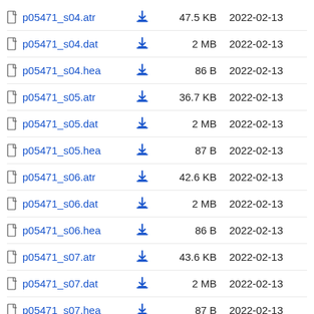p05471_s04.atr  47.5 KB  2022-02-13
p05471_s04.dat  2 MB  2022-02-13
p05471_s04.hea  86 B  2022-02-13
p05471_s05.atr  36.7 KB  2022-02-13
p05471_s05.dat  2 MB  2022-02-13
p05471_s05.hea  87 B  2022-02-13
p05471_s06.atr  42.6 KB  2022-02-13
p05471_s06.dat  2 MB  2022-02-13
p05471_s06.hea  86 B  2022-02-13
p05471_s07.atr  43.6 KB  2022-02-13
p05471_s07.dat  2 MB  2022-02-13
p05471_s07.hea  87 B  2022-02-13
p05471_s08.atr  50.0 KB  2022-02-13
p05471_s08.dat  2 MB  2022-02-13